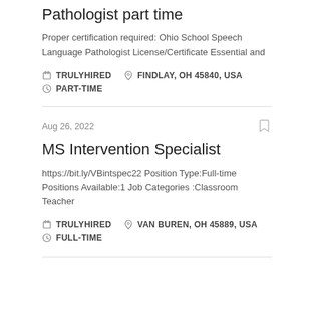Pathologist part time
Proper certification required: Ohio School Speech Language Pathologist License/Certificate Essential and
TRULYHIRED   FINDLAY, OH 45840, USA   PART-TIME
Aug 26, 2022
MS Intervention Specialist
https://bit.ly/VBintspec22 Position Type:Full-time Positions Available:1 Job Categories :Classroom Teacher
TRULYHIRED   VAN BUREN, OH 45889, USA   FULL-TIME